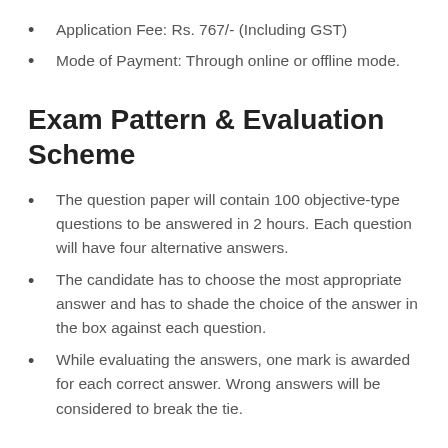Application Fee: Rs. 767/- (Including GST)
Mode of Payment: Through online or offline mode.
Exam Pattern & Evaluation Scheme
The question paper will contain 100 objective-type questions to be answered in 2 hours. Each question will have four alternative answers.
The candidate has to choose the most appropriate answer and has to shade the choice of the answer in the box against each question.
While evaluating the answers, one mark is awarded for each correct answer. Wrong answers will be considered to break the tie.